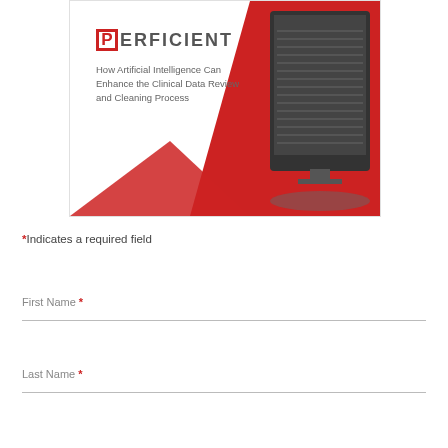[Figure (illustration): Perficient white paper cover showing the Perficient logo (red P in a box followed by ERFICIENT in gray), title 'How Artificial Intelligence Can Enhance the Clinical Data Review and Cleaning Process', and a red diagonal design element overlaid on an image of a computer monitor displaying data charts.]
*Indicates a required field
First Name *
Last Name *